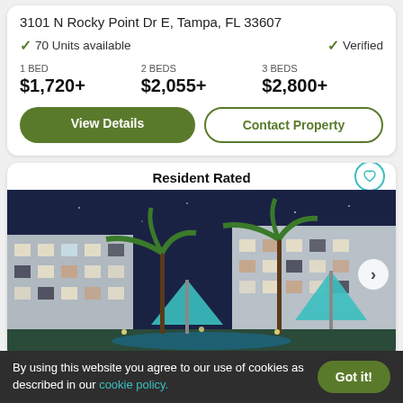3101 N Rocky Point Dr E, Tampa, FL 33607
✓ 70 Units available
✓ Verified
1 BED $1,720+  2 BEDS $2,055+  3 BEDS $2,800+
View Details
Contact Property
Resident Rated
[Figure (photo): Night photo of apartment complex with palm trees, pool area, and blue umbrellas. Modern multi-story building with lit windows visible. Navigation arrow on right side.]
By using this website you agree to our use of cookies as described in our cookie policy.
Got it!